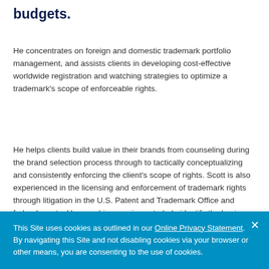budgets.
He concentrates on foreign and domestic trademark portfolio management, and assists clients in developing cost-effective worldwide registration and watching strategies to optimize a trademark's scope of enforceable rights.
He helps clients build value in their brands from counseling during the brand selection process through to tactically conceptualizing and consistently enforcing the client's scope of rights. Scott is also experienced in the licensing and enforcement of trademark rights through litigation in the U.S. Patent and Trademark Office and federal courts. He uses his experience to help identify the business
This Site uses cookies as outlined in our Online Privacy Statement. By navigating this Site and not disabling cookies via your browser or other means, you are consenting to the use of cookies.